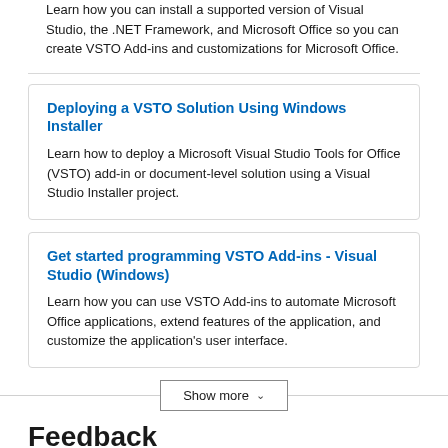Learn how you can install a supported version of Visual Studio, the .NET Framework, and Microsoft Office so you can create VSTO Add-ins and customizations for Microsoft Office.
Deploying a VSTO Solution Using Windows Installer
Learn how to deploy a Microsoft Visual Studio Tools for Office (VSTO) add-in or document-level solution using a Visual Studio Installer project.
Get started programming VSTO Add-ins - Visual Studio (Windows)
Learn how you can use VSTO Add-ins to automate Microsoft Office applications, extend features of the application, and customize the application's user interface.
Show more
Feedback